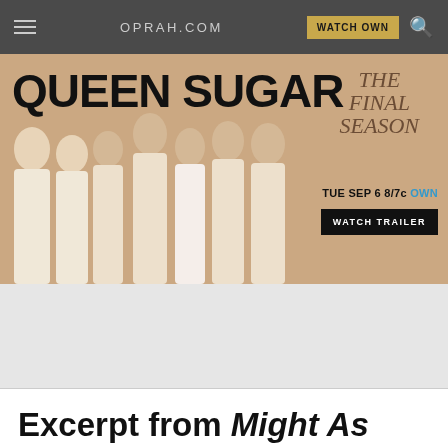OPRAH.COM
[Figure (illustration): Queen Sugar TV show advertisement banner showing cast members dressed in white against a beige/tan background, with 'QUEEN SUGAR' title text, 'THE FINAL SEASON' text, 'TUE SEP 6 8/7c OWN' air time, and a 'WATCH TRAILER' button]
Excerpt from Might As Well Laugh About It Now